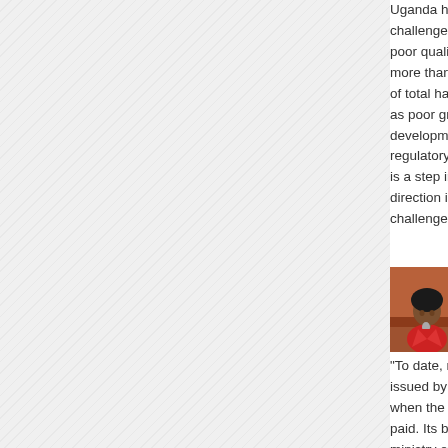Uganda has faced challenges often poor quality of gr more than 30 to of total harvest e as poor grain. Th development of a regulatory code is a step in the ri direction in overc challenges. Read more...
[Figure (photo): Portrait photo of a person wearing a red jacket, speaking at a microphone, outdoors with reddish-brown background]
Mi su ov Uchumi debt
"To date, no brie issued by the mi when the credito paid. Its budget t ministry of Trade even budgeted fo noted.The officia